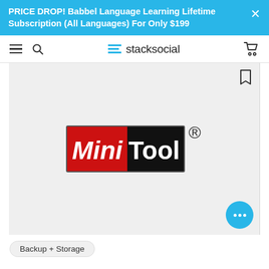PRICE DROP! Babbel Language Learning Lifetime Subscription (All Languages) For Only $199
[Figure (logo): StackSocial navigation bar with hamburger menu, search icon, StackSocial logo (blue lines + text), and cart icon]
[Figure (logo): MiniTool registered trademark logo: red left half with 'Mini' in white italic, black right half with 'Tool' in white bold, and registered trademark symbol]
Backup + Storage